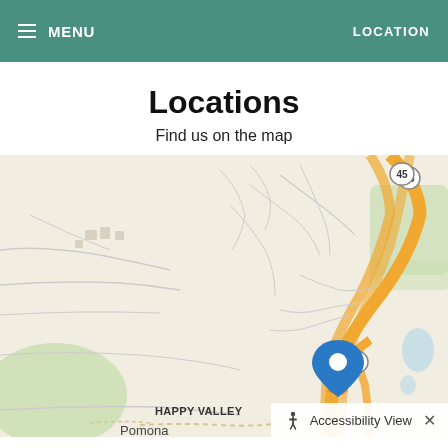MENU  LOCATION
Locations
Find us on the map
[Figure (map): Street map showing route 45 near Happy Valley and Pomona, with a blue location pin marker at an intersection near route 45.]
Accessibility View